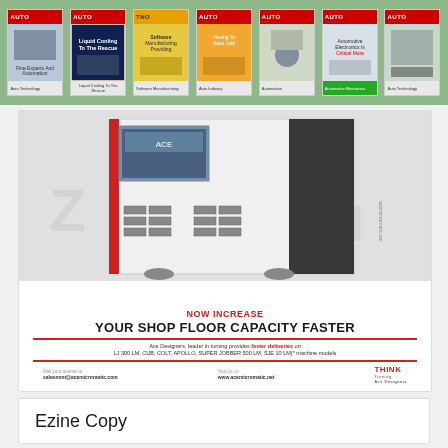[Figure (illustration): Green banner showing 7 magazine covers of AUTO manufacturing/industrial publication]
[Figure (illustration): Advertisement for Ace Micromatic/Ace Designers CNC turning machines. Shows machine photo with text: NOW INCREASE YOUR SHOP FLOOR CAPACITY FASTER. Ace Designers, leader in turning provides faster deliveries on LJ 300 LM, CUB, COLT, APOLLO, SUPER JOBBER 500 LM, SJE 10 LM(* machine models. Contact: salesmmt@acemicromatic.com, www.acemicromatic.net, THINK Turning Ace Designers]
Ezine Copy